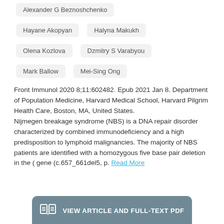Alexander G Beznoshchenko
Hayane Akopyan
Halyna Makukh
Olena Kozlova
Dzmitry S Varabyou
Mark Ballow
Mei-Sing Ong
Front Immunol 2020 8;11:602482. Epub 2021 Jan 8. Department of Population Medicine, Harvard Medical School, Harvard Pilgrim Health Care, Boston, MA, United States.
Nijmegen breakage syndrome (NBS) is a DNA repair disorder characterized by combined immunodeficiency and a high predisposition to lymphoid malignancies. The majority of NBS patients are identified with a homozygous five base pair deletion in the ( gene (c.657_661del5, p. Read More
VIEW ARTICLE AND FULL-TEXT PDF